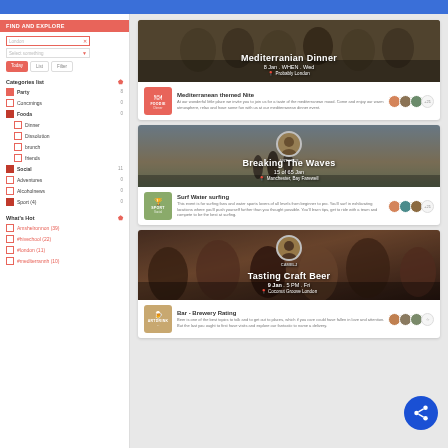[Figure (screenshot): App UI screenshot showing event listings with sidebar navigation and event cards for Mediterranean Dinner, Breaking The Waves, and Tasting Craft Beer]
Mediterranian Dinner
8 Jan . WHEN . Wed
Breaking The Waves
15 of 65 Jan
Tasting Craft Beer
9 Jan . 5 PM . Fri